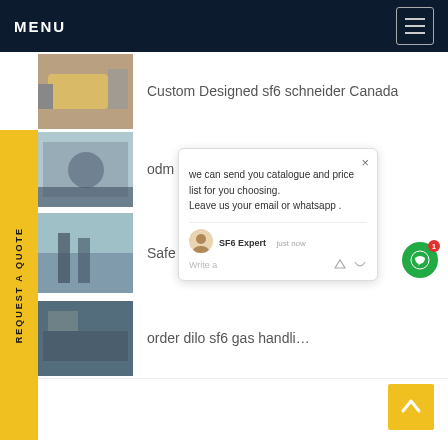MENU
Custom Designed sf6 schneider Canada
odm linde sf6 Vietnam
Safe and efficient fs6 br... America
order dilo sf6 gas handli...
REQUEST A QUOTE
we can send you catalogue and price list for you choosing. Leave us your email or whatsapp .
SF6 Expert   just now
Write a